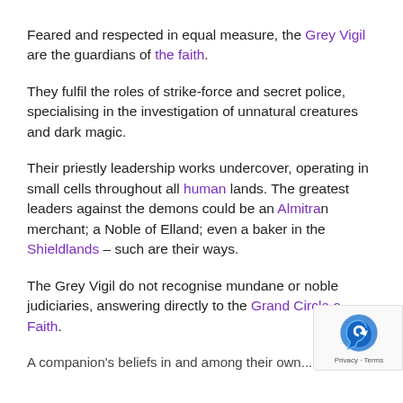Feared and respected in equal measure, the Grey Vigil are the guardians of the faith.
They fulfil the roles of strike-force and secret police, specialising in the investigation of unnatural creatures and dark magic.
Their priestly leadership works undercover, operating in small cells throughout all human lands. The greatest leaders against the demons could be an Almitran merchant; a Noble of Elland; even a baker in the Shieldlands – such are their ways.
The Grey Vigil do not recognise mundane or noble judiciaries, answering directly to the Grand Circle of Faith.
A companion's beliefs in and among their own...